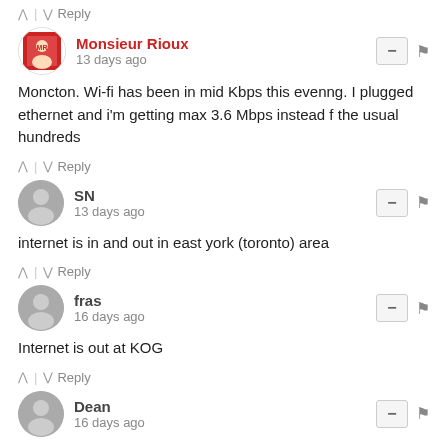^ | v Reply
Monsieur Rioux
13 days ago
Moncton. Wi-fi has been in mid Kbps this evenng. I plugged ethernet and i'm getting max 3.6 Mbps instead f the usual hundreds
^ | v Reply
SN
13 days ago
internet is in and out in east york (toronto) area
^ | v Reply
fras
16 days ago
Internet is out at KOG
^ | v Reply
Dean
16 days ago
Very poor internet in K0C glengarry area. Slow and keeps